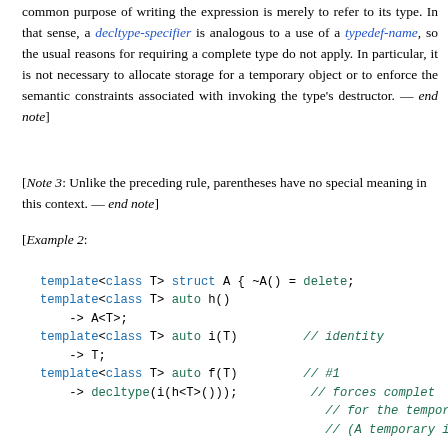common purpose of writing the expression is merely to refer to its type. In that sense, a decltype-specifier is analogous to a use of a typedef-name, so the usual reasons for requiring a complete type do not apply. In particular, it is not necessary to allocate storage for a temporary object or to enforce the semantic constraints associated with invoking the type's destructor. — end note]
[Note 3: Unlike the preceding rule, parentheses have no special meaning in this context. — end note]
[Example 2:
[Figure (screenshot): C++ code block showing template class struct A with deleted destructor, template auto h(), template auto i(T) with identity comment, template auto f(T) #1 with decltype(i(h<T>())), template auto f(T) #2 returning void, and start of auto g() -> void {]